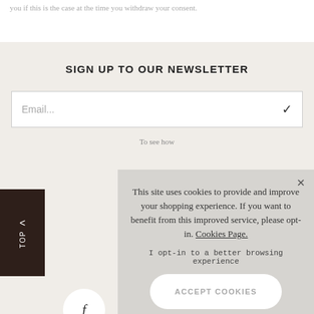you if this is the case at the time you withdraw your consent.
SIGN UP TO OUR NEWSLETTER
Email...
To see how
TOP
f
This site uses cookies to provide and improve your shopping experience. If you want to benefit from this improved service, please opt-in. Cookies Page.
I opt-in to a better browsing experience
ACCEPT COOKIES